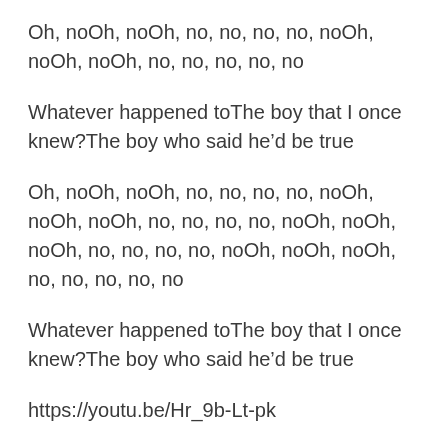Oh, noOh, noOh, no, no, no, no, noOh, noOh, noOh, no, no, no, no, no
Whatever happened toThe boy that I once knew?The boy who said he’d be true
Oh, noOh, noOh, no, no, no, no, noOh, noOh, noOh, no, no, no, no, noOh, noOh, noOh, no, no, no, no, noOh, noOh, noOh, no, no, no, no, no
Whatever happened toThe boy that I once knew?The boy who said he’d be true
https://youtu.be/Hr_9b-Lt-pk